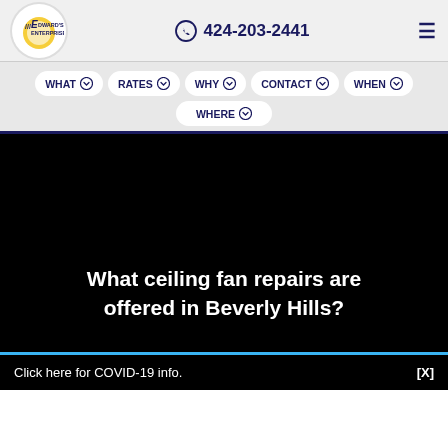[Figure (logo): Edward's Enterprises logo — circular white background with stylized 'E' and company name in navy blue and yellow sunburst]
424-203-2441
WHAT
RATES
WHY
CONTACT
WHEN
WHERE
What ceiling fan repairs are offered in Beverly Hills?
Click here for COVID-19 info.